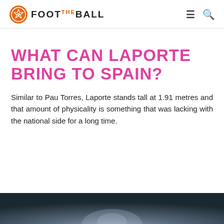FOOTBALLL (FootTheBall logo) — navigation menu and search icons
WHAT CAN LAPORTE BRING TO SPAIN?
Similar to Pau Torres, Laporte stands tall at 1.91 metres and that amount of physicality is something that was lacking with the national side for a long time.
[Figure (photo): Photo of a football player, partially visible at bottom of page, dark blurred background]